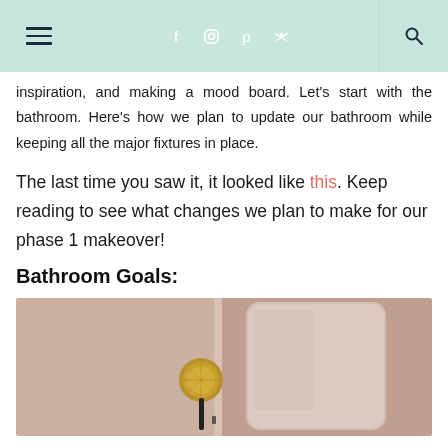navigation header with hamburger menu, social icons (f, instagram, p, twitter), and search icon
inspiration, and making a mood board. Let's start with the bathroom. Here's how we plan to update our bathroom while keeping all the major fixtures in place.
The last time you saw it, it looked like this. Keep reading to see what changes we plan to make for our phase 1 makeover!
Bathroom Goals:
[Figure (photo): Photo of a bathroom with a rounded rectangular mirror on a blush/taupe wall, and a brass circular wall-mounted fixture/sconce with a black arm.]